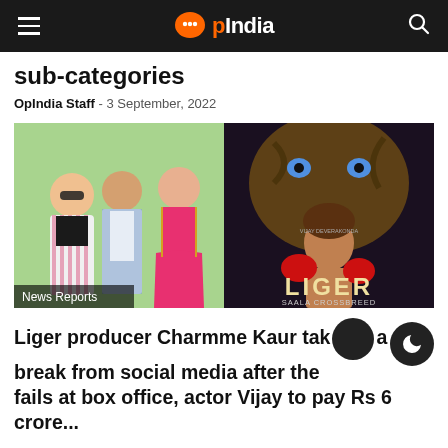OpIndia
sub-categories
OpIndia Staff - 3 September, 2022
[Figure (photo): Left half: Photo of three people posing — a woman in striped blazer with sunglasses, a man in white shirt and blue jacket, and a woman in pink lehenga. Right half: Movie poster for LIGER — SAALA CROSSBREED by Karan Johar, featuring a man with boxing gloves in front of a lion/tiger face. News Reports tag at bottom left.]
Liger producer Charmme Kaur takes a break from social media after the film fails at box office, actor Vijay to pay Rs 6 crore...